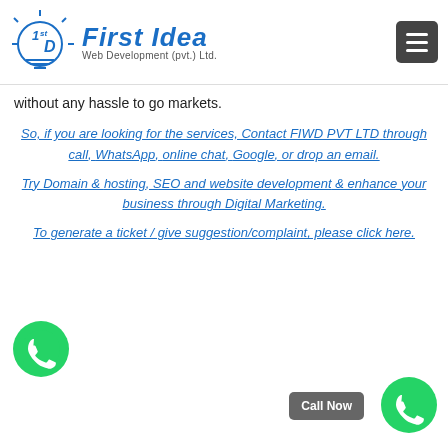[Figure (logo): First Idea Web Development (pvt.) Ltd. logo with lightbulb and '1st' icon]
without any hassle to go markets.
So, if you are looking for the services, Contact FIWD PVT LTD through call, WhatsApp, online chat, Google, or drop an email.
Try Domain & hosting, SEO and website development & enhance your business through Digital Marketing.
To generate a ticket / give suggestion/complaint, please click here.
[Figure (logo): WhatsApp green phone icon]
Call Now
[Figure (logo): Green phone call button circle icon]